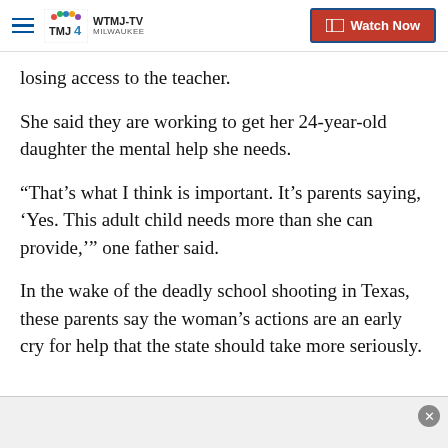WTMJ-TV MILWAUKEE — Watch Now
losing access to the teacher.
She said they are working to get her 24-year-old daughter the mental help she needs.
“That’s what I think is important. It’s parents saying, ‘Yes. This adult child needs more than she can provide,’” one father said.
In the wake of the deadly school shooting in Texas, these parents say the woman’s actions are an early cry for help that the state should take more seriously.